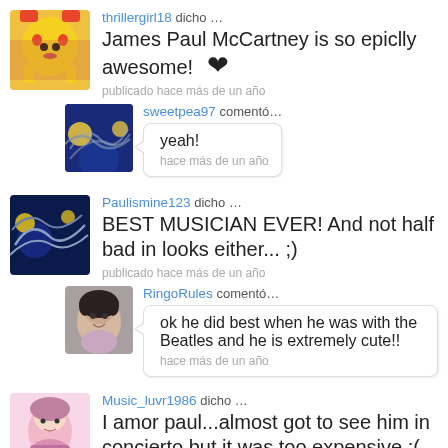thrillergirl18 dicho … James Paul McCartney is so epiclly awesome! publicado hace más de un año
sweetpea97 comentó… yeah! hace más de un año
Paulismine123 dicho … BEST MUSICIAN EVER! And not half bad in looks either... ;) publicado hace más de un año
RingoRules comentó… ok he did best when he was with the Beatles and he is extremely cute!! hace más de un año
Music_luvr1986 dicho … I amor paul...almost got to see him in concierto but it was too expensive :( publicado hace más de un año